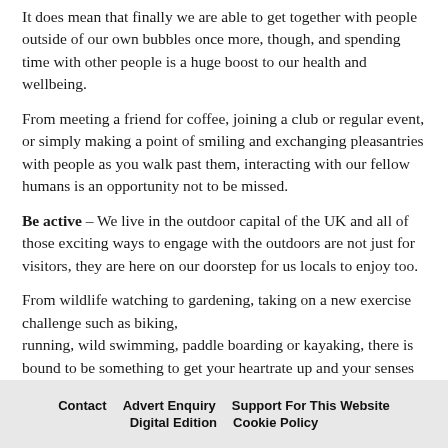It does mean that finally we are able to get together with people outside of our own bubbles once more, though, and spending time with other people is a huge boost to our health and wellbeing.
From meeting a friend for coffee, joining a club or regular event, or simply making a point of smiling and exchanging pleasantries with people as you walk past them, interacting with our fellow humans is an opportunity not to be missed.
Be active – We live in the outdoor capital of the UK and all of those exciting ways to engage with the outdoors are not just for visitors, they are here on our doorstep for us locals to enjoy too.
From wildlife watching to gardening, taking on a new exercise challenge such as biking, running, wild swimming, paddle boarding or kayaking, there is bound to be something to get your heartrate up and your senses engaged this spring.
Take notice – Spotting the tiny details in a mindful manner is great for reducing anxiety, focusing attention, improving memory
Contact   Advert Enquiry   Support For This Website
Digital Edition   Cookie Policy